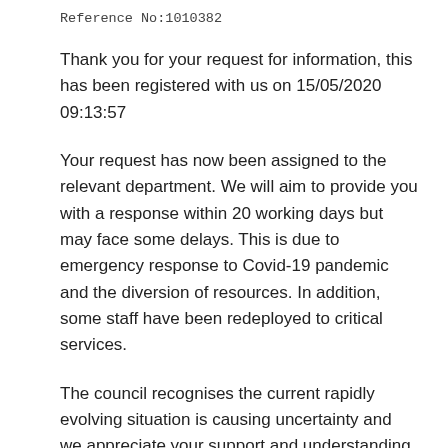Reference No:1010382
Thank you for your request for information, this has been registered with us on 15/05/2020 09:13:57
Your request has now been assigned to the relevant department. We will aim to provide you with a response within 20 working days but may face some delays. This is due to emergency response to Covid-19 pandemic and the diversion of resources. In addition, some staff have been redeployed to critical services.
The council recognises the current rapidly evolving situation is causing uncertainty and we appreciate your support and understanding at this challenging time, as we endeavour to maintain services while protecting our staff and customers.
The Freedom of Information Act defines a number of exemptions, which may prevent us releasing the information you have requested. You will be informed if